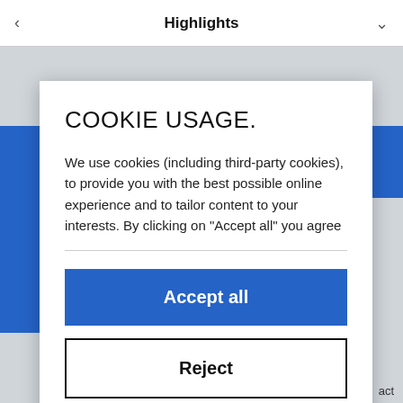Highlights
COOKIE USAGE.
We use cookies (including third-party cookies), to provide you with the best possible online experience and to tailor content to your interests. By clicking on "Accept all" you agree
[Figure (screenshot): Accept all button - blue filled rectangle with white bold text 'Accept all']
[Figure (screenshot): Reject button - white rectangle with black border and bold text 'Reject']
[Figure (screenshot): Customize button - white rectangle with black border and text 'Customize']